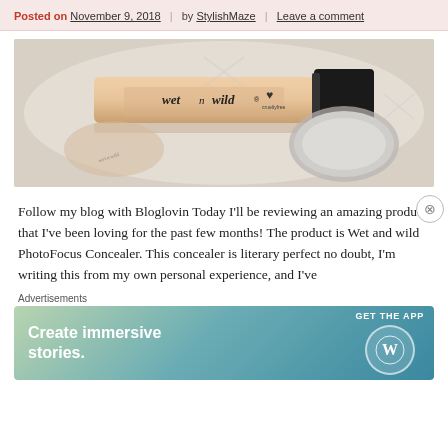Posted on November 9, 2018 | by StylishMaze | Leave a comment
[Figure (photo): Wet n Wild PhotoFocus Concealer product photo showing a nude/peach colored concealer tube with black cap and logo, alongside other makeup products on a reflective surface]
Follow my blog with Bloglovin Today I'll be reviewing an amazing product that I've been loving for the past few months! The product is Wet and wild PhotoFocus Concealer. This concealer is literary perfect no doubt, I'm writing this from my own personal experience, and I've
Advertisements
[Figure (screenshot): WordPress advertisement banner: 'Create immersive stories.' with GET THE APP call to action and WordPress logo on gradient blue-green background]